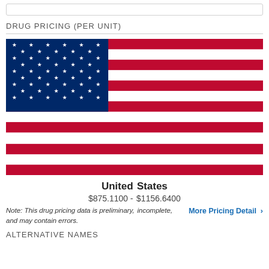DRUG PRICING (PER UNIT)
[Figure (illustration): US flag SVG illustration with blue canton and 50 white stars, red and white horizontal stripes]
United States
$875.1100 - $1156.6400
Note: This drug pricing data is preliminary, incomplete, and may contain errors.
More Pricing Detail ›
ALTERNATIVE NAMES